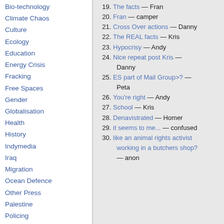Bio-technology
Climate Chaos
Culture
Ecology
Education
Energy Crisis
Fracking
Free Spaces
Gender
Globalisation
Health
History
Indymedia
Iraq
Migration
Ocean Defence
Other Press
Palestine
Policing
Public sector cuts
Repression
Social Struggles
Technology
Terror War
19. The facts — Fran
20. Fran — camper
21. Cross Over actions — Danny
22. The REAL facts — Kris
23. Hypocrisy — Andy
24. Nice repeat post Kris — Danny
25. ES part of Mail Group>? — Peta
26. You're right — Andy
27. School — Kris
28. Denavistrated — Homer
29. it seems to me... — confused
30. like an animal rights activist working in a butchers shop? — anon